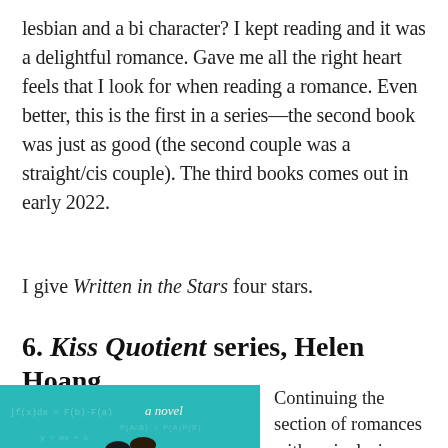lesbian and a bi character? I kept reading and it was a delightful romance. Gave me all the right heart feels that I look for when reading a romance. Even better, this is the first in a series—the second book was just as good (the second couple was a straight/cis couple). The third books comes out in early 2022.
I give Written in the Stars four stars.
6. Kiss Quotient series, Helen Hoang
[Figure (photo): Book cover of The Kiss Quotient by Helen Hoang showing a couple embracing, teal/turquoise background with mathematical formulas]
Continuing the section of romances with an inclusive twist is Helen Hoang's The Kiss